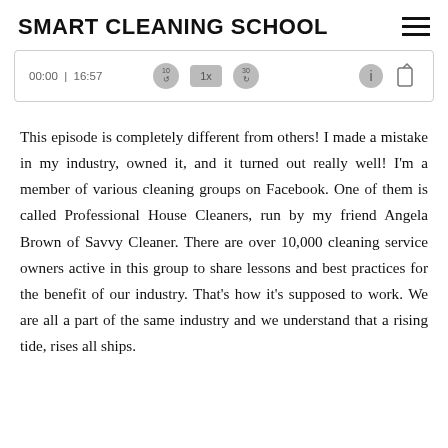SMART CLEANING SCHOOL
[Figure (screenshot): Audio player bar showing timestamp 00:00 | 16:57 with playback controls: rewind 10s, 1x speed, forward 30s, info and share buttons]
This episode is completely different from others! I made a mistake in my industry, owned it, and it turned out really well! I'm a member of various cleaning groups on Facebook. One of them is called Professional House Cleaners, run by my friend Angela Brown of Savvy Cleaner. There are over 10,000 cleaning service owners active in this group to share lessons and best practices for the benefit of our industry. That's how it's supposed to work. We are all a part of the same industry and we understand that a rising tide, rises all ships.